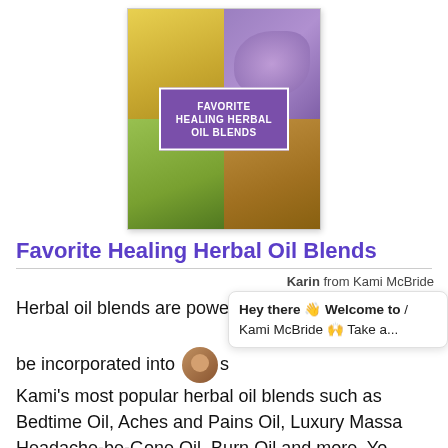[Figure (photo): Book cover for 'Favorite Healing Herbal Oil Blends' showing a collage of herbal oils, lavender, and bottles with a purple title box in the center]
Favorite Healing Herbal Oil Blends
Karin from Kami McBride
Herbal oil blends are powerful... be incorporated into ... Kami's most popular herbal oil blends such as Bedtime Oil, Aches and Pains Oil, Luxury Massage Oil, Headache-be-Gone Oil, Burn Oil and more. You don't have to be in the healing arts to benefit from these
[Figure (screenshot): Chat popup overlay showing avatar photo and text: Hey there 👋 Welcome to Kami McBride 🙌 Take a...]